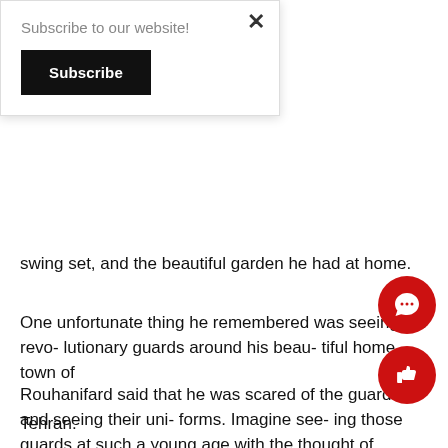Subscribe to our website!
Subscribe
swing set, and the beautiful garden he had at home.
One unfortunate thing he remembered was seeing the revolutionary guards around his beautiful home town of

Tehran.
Rouhanifard said that he was scared of the guards and seeing their uni- forms. Imagine see- ing those guards at such a young age with the thought of something terrible happen- ing to you, your family, and many others living around you.
rights taken away from them during the revo- lution, Rouh and his family knew when it was time to immigrate from to the United States.
Rouhanifard's family moved to Tennessee where he learned his